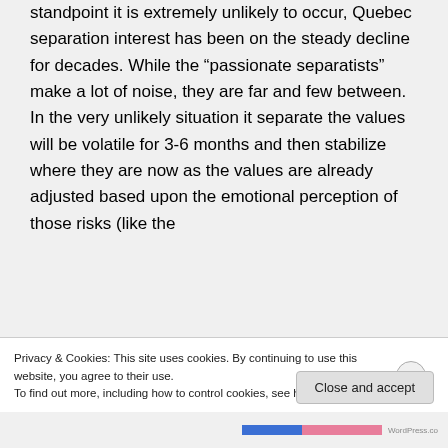standpoint it is extremely unlikely to occur, Quebec separation interest has been on the steady decline for decades. While the “passionate separatists” make a lot of noise, they are far and few between. In the very unlikely situation it separate the values will be volatile for 3-6 months and then stabilize where they are now as the values are already adjusted based upon the emotional perception of those risks (like the
Privacy & Cookies: This site uses cookies. By continuing to use this website, you agree to their use.
To find out more, including how to control cookies, see here: Cookie Policy